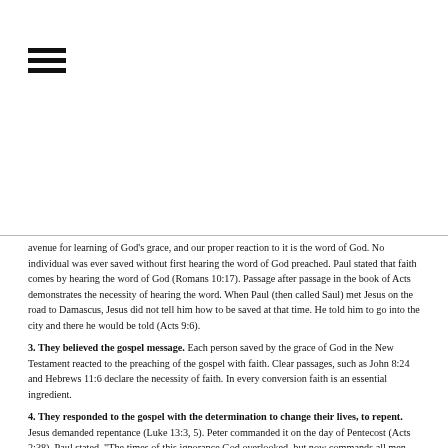[Figure (other): Hamburger menu icon (three horizontal bars)]
avenue for learning of God's grace, and our proper reaction to it is the word of God. No individual was ever saved without first hearing the word of God preached. Paul stated that faith comes by hearing the word of God (Romans 10:17). Passage after passage in the book of Acts demonstrates the necessity of hearing the word. When Paul (then called Saul) met Jesus on the road to Damascus, Jesus did not tell him how to be saved at that time. He told him to go into the city and there he would be told (Acts 9:6).
3. They believed the gospel message. Each person saved by the grace of God in the New Testament reacted to the preaching of the gospel with faith. Clear passages, such as John 8:24 and Hebrews 11:6 declare the necessity of faith. In every conversion faith is an essential ingredient.
4. They responded to the gospel with the determination to change their lives, to repent. Jesus demanded repentance (Luke 13:3, 5). Peter commanded it on the day of Pentecost (Acts 2:38). Paul stated, "The times of this ignorance God overlooked, but now commands all men everywhere to repent." Repentance is brought about by godly sorrow (2 Corinthians 7:10)